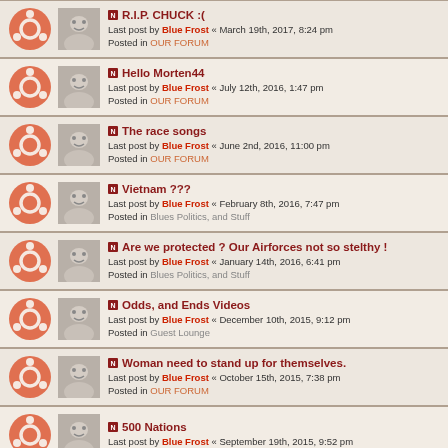R.I.P. CHUCK :( — Last post by Blue Frost « March 19th, 2017, 8:24 pm — Posted in OUR FORUM
Hello Morten44 — Last post by Blue Frost « July 12th, 2016, 1:47 pm — Posted in OUR FORUM
The race songs — Last post by Blue Frost « June 2nd, 2016, 11:00 pm — Posted in OUR FORUM
Vietnam ??? — Last post by Blue Frost « February 8th, 2016, 7:47 pm — Posted in Blues Politics, and Stuff
Are we protected ? Our Airforces not so stelthy ! — Last post by Blue Frost « January 14th, 2016, 6:41 pm — Posted in Blues Politics, and Stuff
Odds, and Ends Videos — Last post by Blue Frost « December 10th, 2015, 9:12 pm — Posted in Guest Lounge
Woman need to stand up for themselves. — Last post by Blue Frost « October 15th, 2015, 7:38 pm — Posted in OUR FORUM
500 Nations — Last post by Blue Frost « September 19th, 2015, 9:52 pm